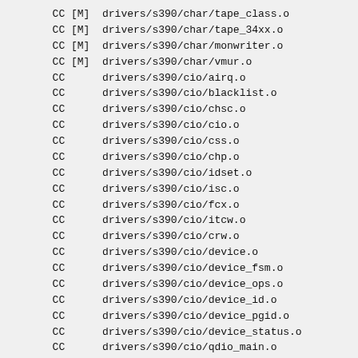CC [M]  drivers/s390/char/tape_class.o
CC [M]  drivers/s390/char/tape_34xx.o
CC [M]  drivers/s390/char/monwriter.o
CC [M]  drivers/s390/char/vmur.o
CC      drivers/s390/cio/airq.o
CC      drivers/s390/cio/blacklist.o
CC      drivers/s390/cio/chsc.o
CC      drivers/s390/cio/cio.o
CC      drivers/s390/cio/css.o
CC      drivers/s390/cio/chp.o
CC      drivers/s390/cio/idset.o
CC      drivers/s390/cio/isc.o
CC      drivers/s390/cio/fcx.o
CC      drivers/s390/cio/itcw.o
CC      drivers/s390/cio/crw.o
CC      drivers/s390/cio/device.o
CC      drivers/s390/cio/device_fsm.o
CC      drivers/s390/cio/device_ops.o
CC      drivers/s390/cio/device_id.o
CC      drivers/s390/cio/device_pgid.o
CC      drivers/s390/cio/device_status.o
CC      drivers/s390/cio/qdio_main.o
CC      drivers/s390/cio/qdio_thinint.o
CC      drivers/s390/cio/qdio_debug.o
CC      drivers/s390/cio/qdio_perf.o
CC      drivers/s390/cio/qdio_setup.o
LD      drivers/s390/cio/ccw_device.o